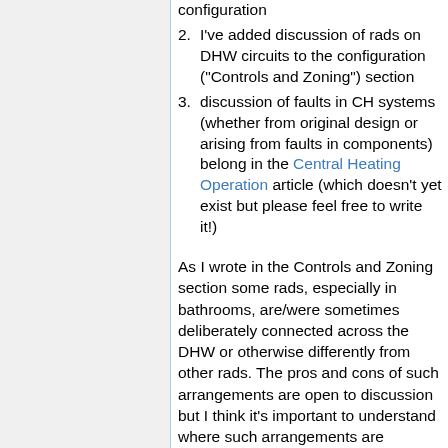configuration
I've added discussion of rads on DHW circuits to the configuration ("Controls and Zoning") section
discussion of faults in CH systems (whether from original design or arising from faults in components) belong in the Central Heating Operation article (which doesn't yet exist but please feel free to write it!)
As I wrote in the Controls and Zoning section some rads, especially in bathrooms, are/were sometimes deliberately connected across the DHW or otherwise differently from other rads. The pros and cons of such arrangements are open to discussion but I think it's important to understand where such arrangements are intentional and